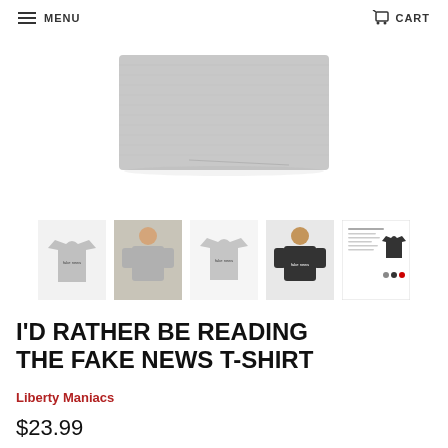MENU   CART
[Figure (photo): Main product photo: folded grey t-shirt on white background]
[Figure (photo): Thumbnail 1: grey t-shirt laid flat showing front graphic]
[Figure (photo): Thumbnail 2: person wearing grey t-shirt outdoors]
[Figure (photo): Thumbnail 3: grey t-shirt front view]
[Figure (photo): Thumbnail 4: person wearing dark navy t-shirt]
[Figure (photo): Thumbnail 5: product info sheet with t-shirt graphic]
I'D RATHER BE READING THE FAKE NEWS T-SHIRT
Liberty Maniacs
$23.99